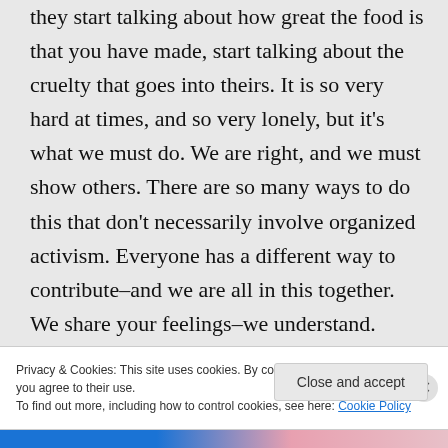they start talking about how great the food is that you have made, start talking about the cruelty that goes into theirs. It is so very hard at times, and so very lonely, but it's what we must do. We are right, and we must show others. There are so many ways to do this that don't necessarily involve organized activism. Everyone has a different way to contribute–and we are all in this together. We share your feelings–we understand.
Privacy & Cookies: This site uses cookies. By continuing to use this website, you agree to their use. To find out more, including how to control cookies, see here: Cookie Policy
Close and accept